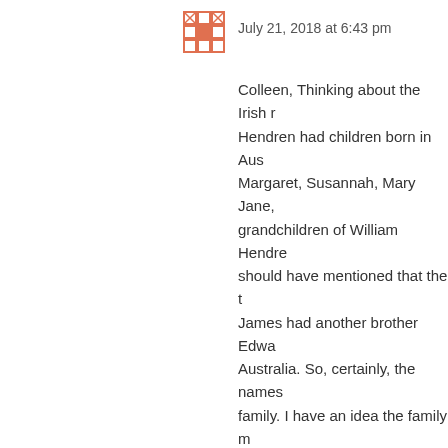[Figure (logo): Orange/red avatar icon with grid/building pattern]
July 21, 2018 at 6:43 pm
Colleen, Thinking about the Irish r Hendren had children born in Aus Margaret, Susannah, Mary Jane, grandchildren of William Hendre should have mentioned that the t James had another brother Edwa Australia. So, certainly, the names family. I have an idea the family m there were certainly Hendrens th Presbyterian family of Hendrens Minister Samuel Hendren. There family in Australia also. We have and feel there is probably a conne matching is the way to prove this both Ancestry DNA and Famiy Tr sharing that. Regards Chrissy